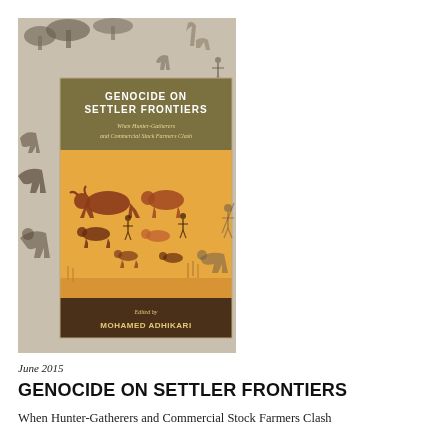[Figure (illustration): Book cover of 'Genocide on Settler Frontiers: When Hunter-Gatherers and Commercial Stock Farmers Clash', edited by Mohamed Adhikari. The cover features rock art / cave painting imagery of animals and human figures on a muted grey-beige background. The central panel shows a warm orange/amber color with painted cattle and human figures. The title is in white text on an olive/dark yellow-green banner at the top, subtitle in italic below, and editor name on a dark brown band at the bottom.]
June 2015
GENOCIDE ON SETTLER FRONTIERS
When Hunter-Gatherers and Commercial Stock Farmers Clash